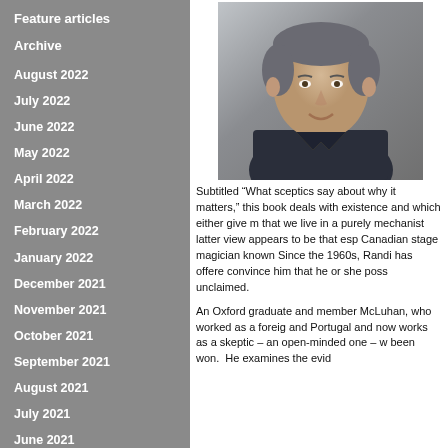Feature articles
Archive
August 2022
July 2022
June 2022
May 2022
April 2022
March 2022
February 2022
January 2022
December 2021
November 2021
October 2021
September 2021
August 2021
July 2021
June 2021
May 2021
April 2021
[Figure (photo): Head and shoulders photo of a middle-aged man with short grey hair wearing a dark shirt, smiling slightly]
Subtitled “What sceptics say about why it matters,” this book deals with existence and which either give merit that we live in a purely mechanistic latter view appears to be that especially Canadian stage magician known Since the 1960s, Randi has offered convince him that he or she possesses unclaimed.
An Oxford graduate and member McLuhan, who worked as a foreign and Portugal and now works as a skeptic – an open-minded one – who been won. He examines the evidence